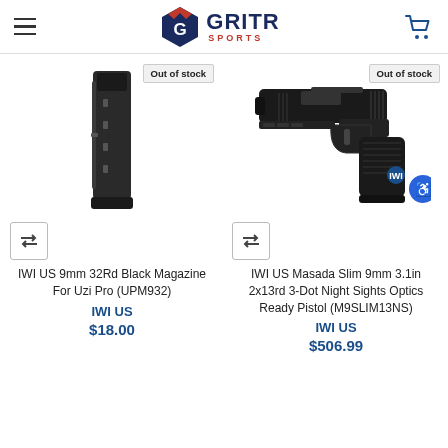GRITR SPORTS
[Figure (photo): IWI US 9mm 32Rd Black Magazine for Uzi Pro product photo with Out of stock badge]
[Figure (photo): IWI US Masada Slim 9mm pistol product photo with Out of stock badge and accessibility icon]
IWI US 9mm 32Rd Black Magazine For Uzi Pro (UPM932)
IWI US
$18.00
IWI US Masada Slim 9mm 3.1in 2x13rd 3-Dot Night Sights Optics Ready Pistol (M9SLIM13NS)
IWI US
$506.99